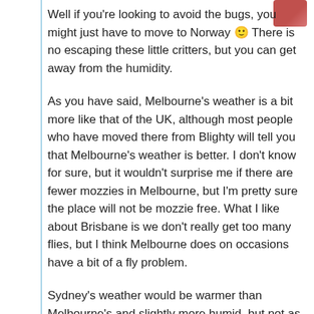[Figure (photo): Small avatar/profile photo in top right corner showing a person, reddish tones]
Well if you're looking to avoid the bugs, you might just have to move to Norway 🙂 There is no escaping these little critters, but you can get away from the humidity.
As you have said, Melbourne's weather is a bit more like that of the UK, although most people who have moved there from Blighty will tell you that Melbourne's weather is better. I don't know for sure, but it wouldn't surprise me if there are fewer mozzies in Melbourne, but I'm pretty sure the place will not be mozzie free. What I like about Brisbane is we don't really get too many flies, but I think Melbourne does on occasions have a bit of a fly problem.
Sydney's weather would be warmer than Melbourne's and slightly more humid, but not as humid as